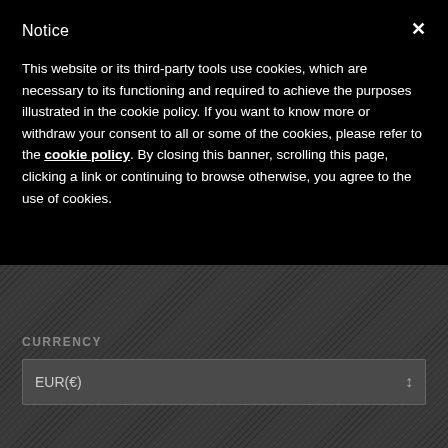Notice
This website or its third-party tools use cookies, which are necessary to its functioning and required to achieve the purposes illustrated in the cookie policy. If you want to know more or withdraw your consent to all or some of the cookies, please refer to the cookie policy.
By closing this banner, scrolling this page, clicking a link or continuing to browse otherwise, you agree to the use of cookies.
CURRENCY
EUR(€)